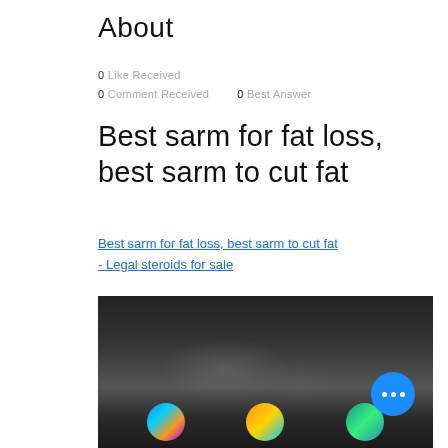About
0 Like Received
0 Comment Received    0 Best Answer
Best sarm for fat loss, best sarm to cut fat
Best sarm for fat loss, best sarm to cut fat - Legal steroids for sale
[Figure (photo): Blurred dark image with colored icons at the bottom, and a blue floating action button with three dots in the bottom-right corner.]